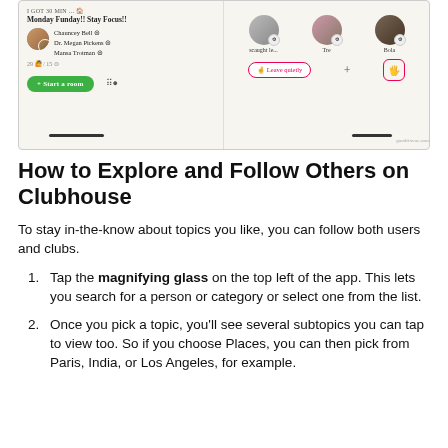[Figure (screenshot): Clubhouse app screenshot showing a room with 'Monday Funday!! Stay Focus!!' title, hosts Chauncey Bell, Dr. Megan Pickens, Mansa Trotman, Start a room button, and user avatars for scaught le..., Tre, Bola with Leave quietly and raise hand buttons highlighted in red boxes.]
How to Explore and Follow Others on Clubhouse
To stay in-the-know about topics you like, you can follow both users and clubs.
Tap the magnifying glass on the top left of the app. This lets you search for a person or category or select one from the list.
Once you pick a topic, you’ll see several subtopics you can tap to view too. So if you choose Places, you can then pick from Paris, India, or Los Angeles, for example.